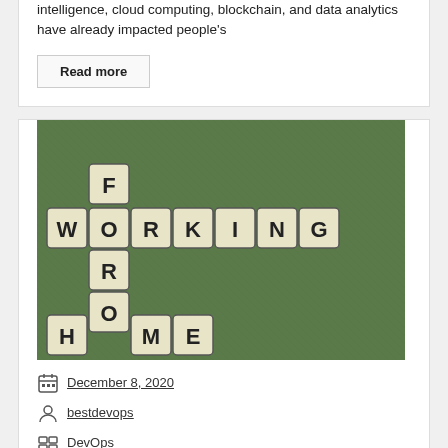intelligence, cloud computing, blockchain, and data analytics have already impacted people's
Read more
[Figure (photo): Scrabble tiles arranged on a green background spelling out WORKING FROM HOME in crossword style]
December 8, 2020
bestdevops
DevOps